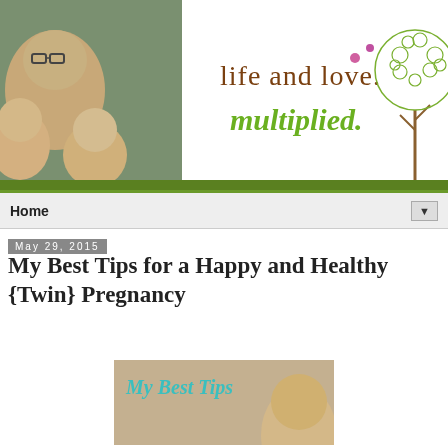[Figure (photo): Blog header banner showing a woman with two babies on the left, text 'life and love. multiplied.' in the center, and a decorative illustrated tree on the right. Green and brown color scheme.]
Home ▼
May 29, 2015
My Best Tips for a Happy and Healthy {Twin} Pregnancy
[Figure (photo): Thumbnail image with teal/mint text reading 'My Best Tips' on a beige background with a person's face partially visible on the right side.]